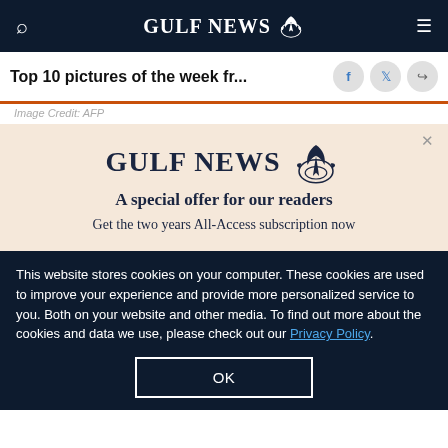GULF NEWS
Top 10 pictures of the week fr...
Image Credit: AFP
[Figure (logo): Gulf News logo with eagle emblem and text 'A special offer for our readers. Get the two years All-Access subscription now']
This website stores cookies on your computer. These cookies are used to improve your experience and provide more personalized service to you. Both on your website and other media. To find out more about the cookies and data we use, please check out our Privacy Policy.